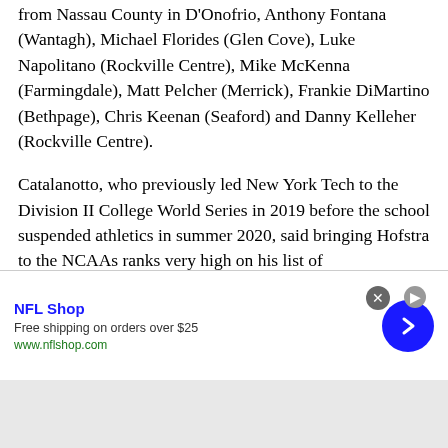from Nassau County in D'Onofrio, Anthony Fontana (Wantagh), Michael Florides (Glen Cove), Luke Napolitano (Rockville Centre), Mike McKenna (Farmingdale), Matt Pelcher (Merrick), Frankie DiMartino (Bethpage), Chris Keenan (Seaford) and Danny Kelleher (Rockville Centre).
Catalanotto, who previously led New York Tech to the Division II College World Series in 2019 before the school suspended athletics in summer 2020, said bringing Hofstra to the NCAAs ranks very high on his list of accomplishments, especially since he never experienced the MLB postseason. After a breakthrough season, the expectations will only
[Figure (infographic): Advertisement banner for NFL Shop: 'NFL Shop' in bold blue, 'Free shipping on orders over $25', 'www.nflshop.com' in green, with a blue circular arrow button on the right and a close (x) button at top right.]